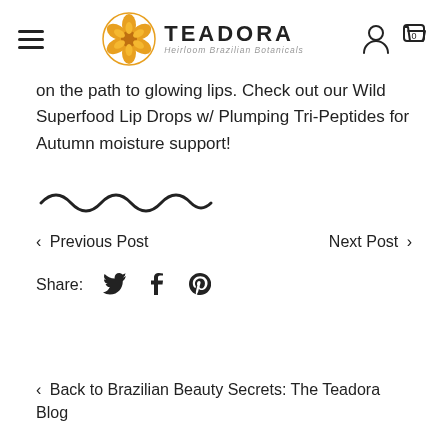TEADORA – Heirloom Brazilian Botanicals
on the path to glowing lips. Check out our Wild Superfood Lip Drops w/ Plumping Tri-Peptides for Autumn moisture support!
[Figure (illustration): Decorative wavy line divider]
< Previous Post    Next Post >
Share:  [Twitter] [Facebook] [Pinterest]
< Back to Brazilian Beauty Secrets: The Teadora Blog